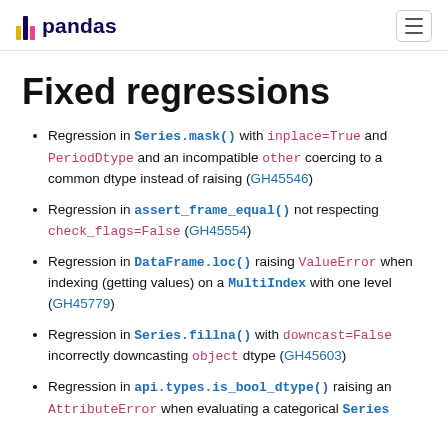pandas
Fixed regressions
Regression in Series.mask() with inplace=True and PeriodDtype and an incompatible other coercing to a common dtype instead of raising (GH45546)
Regression in assert_frame_equal() not respecting check_flags=False (GH45554)
Regression in DataFrame.loc() raising ValueError when indexing (getting values) on a MultiIndex with one level (GH45779)
Regression in Series.fillna() with downcast=False incorrectly downcasting object dtype (GH45603)
Regression in api.types.is_bool_dtype() raising an AttributeError when evaluating a categorical Series